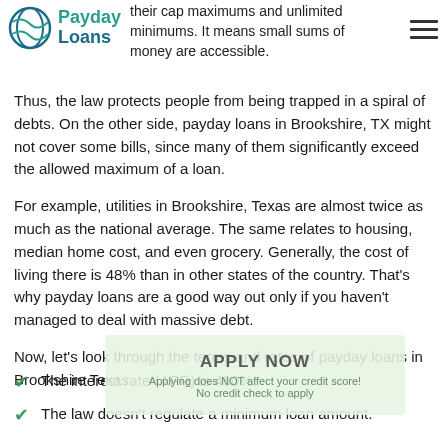Payday Loans [logo]
their cap maximums and unlimited minimums. It means small sums of money are accessible.
Thus, the law protects people from being trapped in a spiral of debts. On the other side, payday loans in Brookshire, TX might not cover some bills, since many of them significantly exceed the allowed maximum of a loan.
For example, utilities in Brookshire, Texas are almost twice as much as the national average. The same relates to housing, median home cost, and even grocery. Generally, the cost of living there is 48% than in other states of the country. That's why payday loans are a good way out only if you haven't managed to deal with massive debt.
Now, let's look through the terms and rates of payday loans in Brookshire Texas.
[Figure (other): Apply Now overlay button with text 'Applying does NOT affect your credit score!' and 'No credit check to apply']
The interest rate (APR) is 460%.
The law doesn't regulate a minimum loan amount.